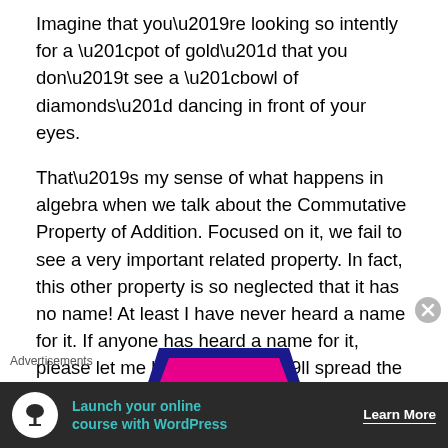Imagine that you’re looking so intently for a “pot of gold” that you don’t see a “bowl of diamonds” dancing in front of your eyes.
That’s my sense of what happens in algebra when we talk about the Commutative Property of Addition. Focused on it, we fail to see a very important related property. In fact, this other property is so neglected that it has no name! At least I have never heard a name for it. If anyone has heard a name for it, please let me know, and I’ll spread the word.
[Figure (logo): The Math Cafe logo: a hot pink/magenta trapezoid shape with dark blue border, containing yellow italic text 'The Math Cafe']
Advertisements
[Figure (infographic): Dark advertisement banner: circular white icon with bonsai tree, teal text 'Launch your online course with WordPress', white bold 'Learn More' link]